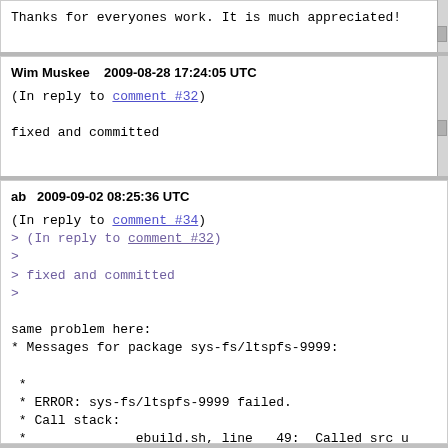Thanks for everyones work.  It is much appreciated!
Wim Muskee    2009-08-28 17:24:05 UTC
(In reply to comment #32)

fixed and committed
ab    2009-09-02 08:25:36 UTC
(In reply to comment #34)
> (In reply to comment #32)
>
> fixed and committed
>

same problem here:
* Messages for package sys-fs/ltspfs-9999:

 *
 * ERROR: sys-fs/ltspfs-9999 failed.
 * Call stack:
 *               ebuild.sh, line   49:  Called src_u
 *             environment, line 2835:  Called bzr_s
 *             environment, line  562:  Called bzr_f
 *             environment, line  540:  Called dio